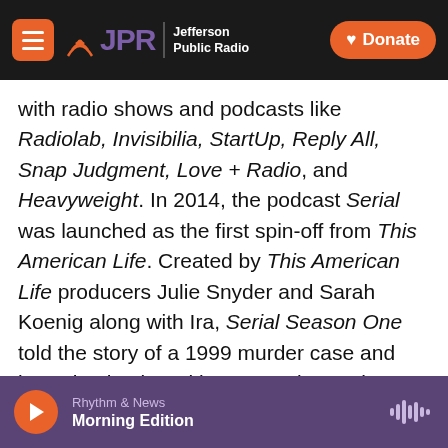JPR Jefferson Public Radio | Donate
with radio shows and podcasts like Radiolab, Invisibilia, StartUp, Reply All, Snap Judgment, Love + Radio, and Heavyweight. In 2014, the podcast Serial was launched as the first spin-off from This American Life. Created by This American Life producers Julie Snyder and Sarah Koenig along with Ira, Serial Season One told the story of a 1999 murder case and investigation in Baltimore, setting podcast records and establishing itself as the most listened-to podcast in the world, with more than 300 million downloads.
At its core, public radio is a creative enterprise —
Rhythm & News | Morning Edition